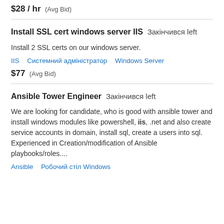$28 / hr  (Avg Bid)
Install SSL cert windows server IIS  Закінчився left
Install 2 SSL certs on our windows server.
IIS   Системний адміністратор   Windows Server
$77  (Avg Bid)
Ansible Tower Engineer  Закінчився left
We are looking for candidate, who is good with ansible tower and install windows modules like powershell, iis, .net and also create service accounts in domain, install sql, create a users into sql. Experienced in Creation/modification of Ansible playbooks/roles....
Ansible   Робочий стіл Windows